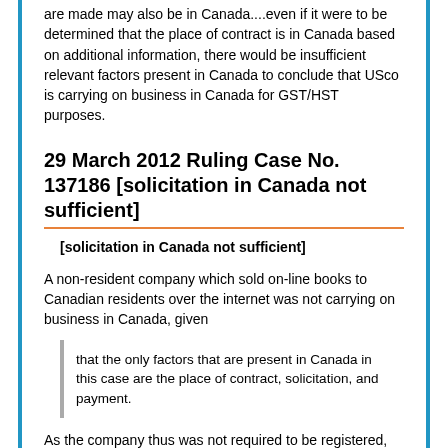are made may also be in Canada....even if it were to be determined that the place of contract is in Canada based on additional information, there would be insufficient relevant factors present in Canada to conclude that USco is carrying on business in Canada for GST/HST purposes.
29 March 2012 Ruling Case No. 137186 [solicitation in Canada not sufficient]
[solicitation in Canada not sufficient]
A non-resident company which sold on-line books to Canadian residents over the internet was not carrying on business in Canada, given
that the only factors that are present in Canada in this case are the place of contract, solicitation, and payment.
As the company thus was not required to be registered, such supplies of intangible personal property by it were deemed by s, 143(1) to be made outside Canada.
16 March 2009 Interpretation Case No. 110027